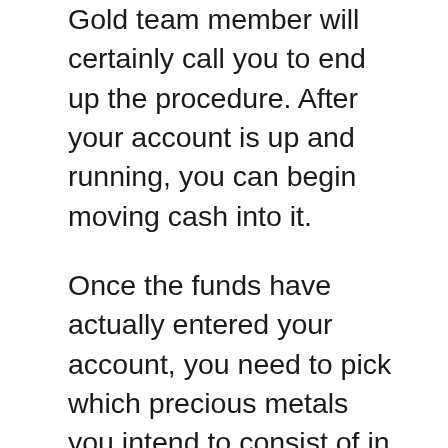Gold team member will certainly call you to end up the procedure. After your account is up and running, you can begin moving cash into it.
Once the funds have actually entered your account, you need to pick which precious metals you intend to consist of in a self guided IRA. Noble Gold supplies you a choice of a number of internal revenue service accredited precious metals, such as platinum, gold, silver and also palladium bars/coins.
In addition, Noble Gold allows precious metals to be bought for individual financial investments. Aside from the above pointed